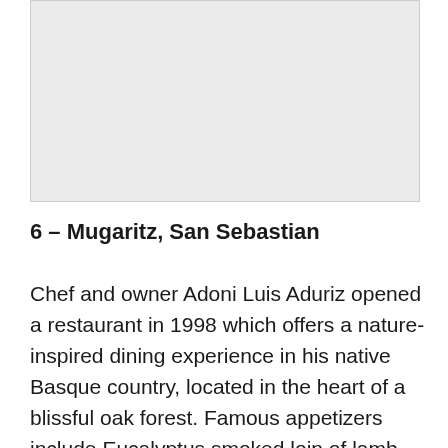[Figure (photo): Large rectangular image placeholder with light gray background, likely a photograph of the Mugaritz restaurant or related scenery.]
6 – Mugaritz, San Sebastian
Chef and owner Adoni Luis Aduriz opened a restaurant in 1998 which offers a nature-inspired dining experience in his native Basque country, located in the heart of a blissful oak forest. Famous appetizers include Eucalyptus smoked loin of lamb with its cultivated fur and gelatinous chicken Mille-feuille, both of which feature in the 24-dish